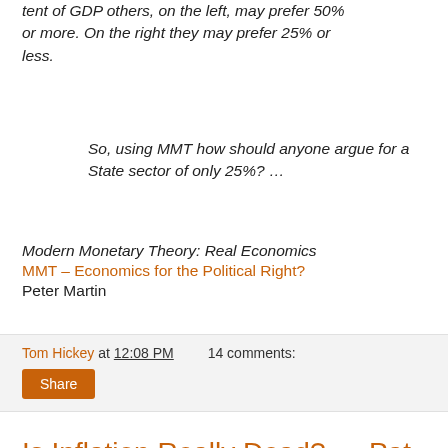tent of GDP others, on the left, may prefer 50% or more. On the right they may prefer 25% or less.
So, using MMT how should anyone argue for a State sector of only 25%? …
Modern Monetary Theory: Real Economics
MMT – Economics for the Political Right?
Peter Martin
Tom Hickey at 12:08 PM   14 comments:
Share
Is Inflation Really Dead? — Pat Regnier interviews Paul McCully
We put the question to Pimco Chief Economist Paul McCulley, who explains why you don't have to worry about rising prices—and why Forrest